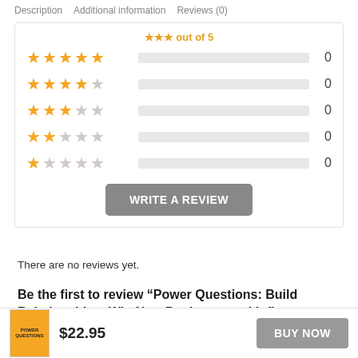Description   Additional information   Reviews (0)
[Figure (other): Star rating breakdown showing 5 rows (5-star to 1-star), each with orange stars, a gray progress bar at 0%, and count of 0. A 'WRITE A REVIEW' button appears below.]
There are no reviews yet.
Be the first to review “Power Questions: Build Relationships, Win New Business, and Influence Others”
$22.95   BUY NOW